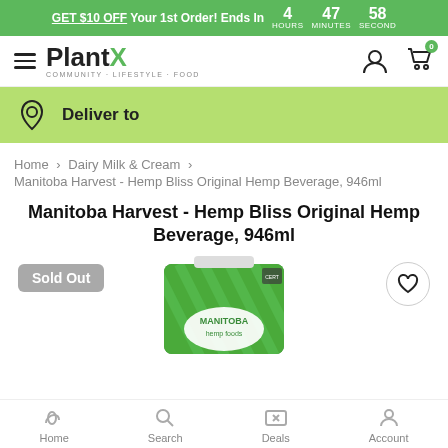GET $10 OFF Your 1st Order! Ends In 4 HOURS 47 MINUTES 58 SECOND
[Figure (logo): PlantX logo with hamburger menu icon, COMMUNITY · LIFESTYLE · FOOD tagline, user icon, and cart icon with badge 0]
Deliver to
Home > Dairy Milk & Cream > Manitoba Harvest - Hemp Bliss Original Hemp Beverage, 946ml
Manitoba Harvest - Hemp Bliss Original Hemp Beverage, 946ml
[Figure (photo): Product image of Manitoba Harvest Hemp Bliss Original Hemp Beverage 946ml carton, green striped packaging. Sold Out badge on top-left, heart/wishlist button on top-right.]
Home  Search  Deals  Account